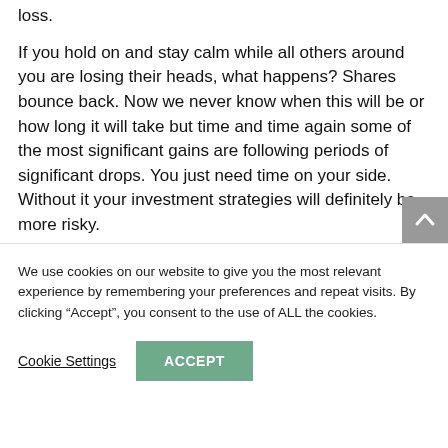loss.
If you hold on and stay calm while all others around you are losing their heads, what happens? Shares bounce back. Now we never know when this will be or how long it will take but time and time again some of the most significant gains are following periods of significant drops. You just need time on your side. Without it your investment strategies will definitely be more risky.
We use cookies on our website to give you the most relevant experience by remembering your preferences and repeat visits. By clicking “Accept”, you consent to the use of ALL the cookies.
Cookie Settings
ACCEPT